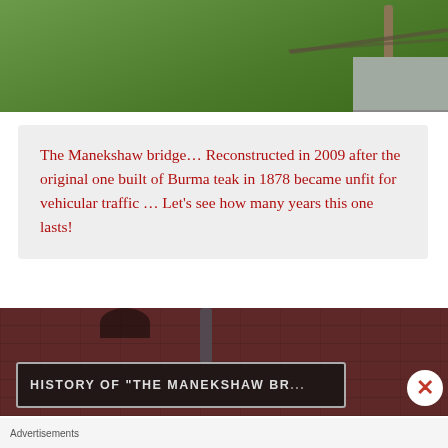[Figure (photo): Photograph showing green grass area with a wooden post and chain fence, road visible on the right side]
The Manekshaw bridge… Reconstructed in 2009 after the original one built of Burma teak in 1878 became unfit for vehicular traffic … Let’s see how many years this one lasts!
[Figure (photo): Photograph of a dark sign board reading 'HISTORY OF THE MANEKSHAW BR...' mounted on a red brick wall]
Advertisements